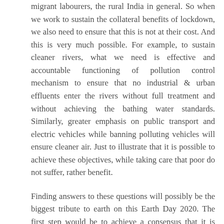migrant labourers, the rural India in general. So when we work to sustain the collateral benefits of lockdown, we also need to ensure that this is not at their cost. And this is very much possible. For example, to sustain cleaner rivers, what we need is effective and accountable functioning of pollution control mechanism to ensure that no industrial & urban effluents enter the rivers without full treatment and without achieving the bathing water standards. Similarly, greater emphasis on public transport and electric vehicles while banning polluting vehicles will ensure cleaner air. Just to illustrate that it is possible to achieve these objectives, while taking care that poor do not suffer, rather benefit.
Finding answers to these questions will possibly be the biggest tribute to earth on this Earth Day 2020. The first step would be to achieve a consensus that it is good idea to work to sustain the collateral benefits of Covid 19